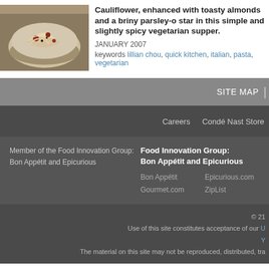[Figure (photo): Food photo showing pasta dish in a bowl]
Cauliflower, enhanced with toasty almonds and a briny parsley-o star in this simple and slightly spicy vegetarian supper.
JANUARY 2007
keywords lillian chou, quick kitchen, italian, pasta, vegetarian
SITE MAP |
Careers  Condé Nast Store
Member of the Food Innovation Group: Bon Appétit and Epicurious
Food Innovation Group: Bon Appétit and Epicurious
Bon Appétit
Gourmet.com
Epicurious.com
ZipList
© 2011
Use of this site constitutes acceptance of our U
Y
The material on this site may not be reproduced, distributed, tra